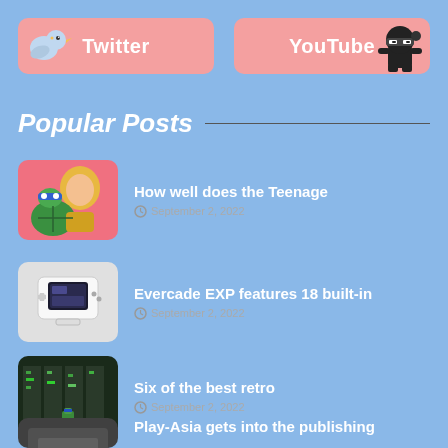[Figure (illustration): Twitter social media button with pink background and bird illustration on left, white bold text 'Twitter' in center]
[Figure (illustration): YouTube social media button with pink background and ninja character illustration on right, white bold text 'YouTube' in center]
Popular Posts
[Figure (illustration): Thumbnail image showing TMNT anime-style illustration with pink background - teenage mutant ninja turtle character]
How well does the Teenage
September 2, 2022
[Figure (illustration): Thumbnail image showing Evercade EXP handheld gaming device on grey/white background]
Evercade EXP features 18 built-in
September 2, 2022
[Figure (illustration): Thumbnail image showing retro game screenshot with dark green/teal architecture and pixel art graphics]
Six of the best retro
September 2, 2022
Play-Asia gets into the publishing